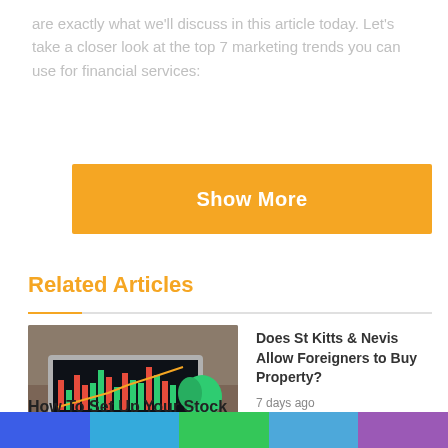are exactly what we'll discuss in this article today. Let's take a closer look at the top 7 marketing trends you can use for financial services:
[Figure (other): Orange 'Show More' button]
Related Articles
[Figure (photo): Person typing on laptop showing stock trading charts, with a coffee cup and plant in background]
Does St Kitts & Nevis Allow Foreigners to Buy Property?
7 days ago
How To Set Up Your Stock Trading Computer